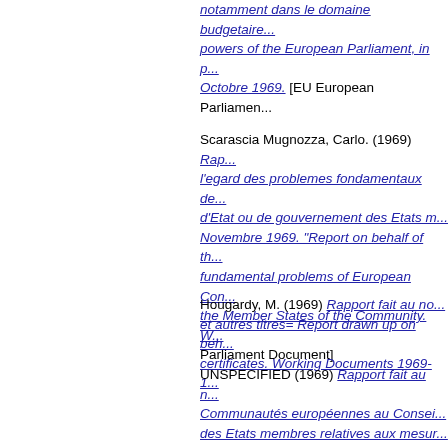notamment dans le domaine budgetaire... powers of the European Parliament, in p... Octobre 1969. [EU European Parliamen...
Scarascia Mugnozza, Carlo. (1969) Rapport... l'egard des problemes fondamentaux de... d'Etat ou de gouvernement des Etats m... Novembre 1969. "Report on behalf of th... fundamental problems of European Con... the Member States of the Community. W... Parliament Document]
Hougardy, M. (1969) Rapport fait au no... et autres titres= Report drawn up on beh... certificates. Working Documents 1969-1...
UNSPECIFIED (1969) Rapport fait au n... Communautés européennes au Consei... des Etats membres relatives aux mesur... Documents de séance 1968-1969, docu... proposal from the European Commissio... Member States relating to technical sec... Document 188, 22 January 1969. [EU E...